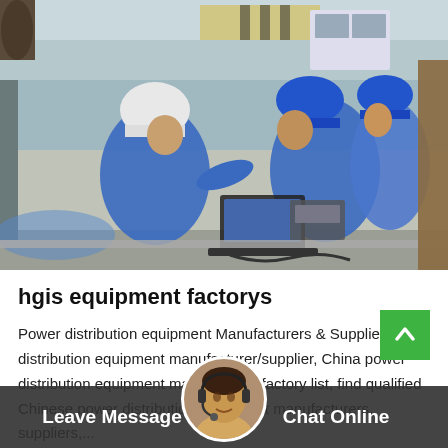[Figure (photo): Workers in blue uniforms and hard hats crouching down working on equipment with a laptop on a concrete surface in an industrial setting]
hgis equipment factorys
Power distribution equipment Manufacturers & Suppliers ... distribution equipment manufacturer/supplier, China power distribution equipment manufacturer/factory list, find qualified Chinese power distribution equipment manufacturers, suppliers,...
Leave Message   Chat Online